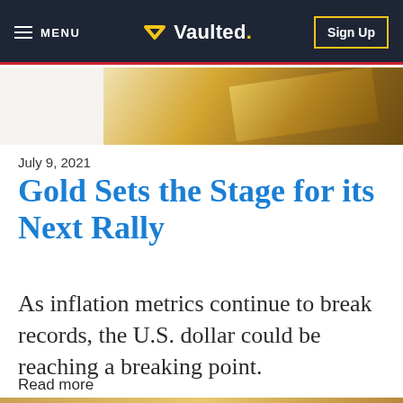MENU  Vaulted.  Sign Up
[Figure (photo): Partial view of gold bars on white background, top image strip]
July 9, 2021
Gold Sets the Stage for its Next Rally
As inflation metrics continue to break records, the U.S. dollar could be reaching a breaking point.
Read more
[Figure (photo): Gold bar image at bottom of page, partially visible]